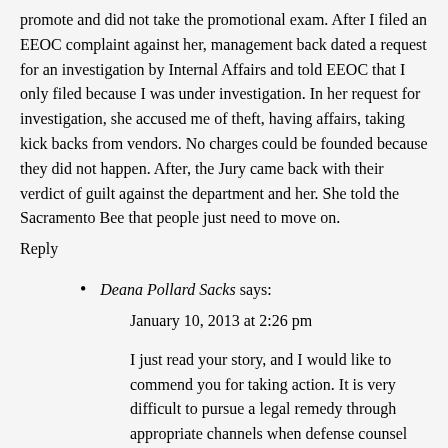promote and did not take the promotional exam.  After I filed an EEOC complaint against her, management back dated a request for an investigation by Internal Affairs and told EEOC that I only filed because I was under investigation.  In her request for investigation, she accused me of theft, having affairs, taking kick backs from vendors.  No charges could be founded because they did not happen.  After, the Jury came back with their verdict of guilt against the department and her.  She told the Sacramento Bee that people just need to move on.
Reply
Deana Pollard Sacks says:
January 10, 2013 at 2:26 pm
I just read your story, and I would like to commend you for taking action. It is very difficult to pursue a legal remedy through appropriate channels when defense counsel often resort to “attack the plaintiff” (and lie about her) tactics instead of finding out what really happened. It